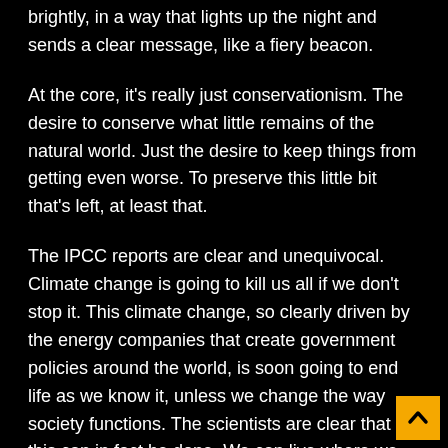brightly, in a way that lights up the night and sends a clear message, like a fiery beacon.
At the core, it's really just conservationism. The desire to conserve what little remains of the natural world. Just the desire to keep things from getting even worse. To preserve this little bit that's left, at least that.
The IPCC reports are clear and unequivocal. Climate change is going to kill us all if we don't stop it. This climate change, so clearly driven by the energy companies that create government policies around the world, is soon going to end life as we know it, unless we change the way society functions. The scientists are clear that this can in fact be done. We can live where we work, turn the suburbs back into farms, ride bicycles, build solar power plants and windmills, recycle everything, it can all be done, if the